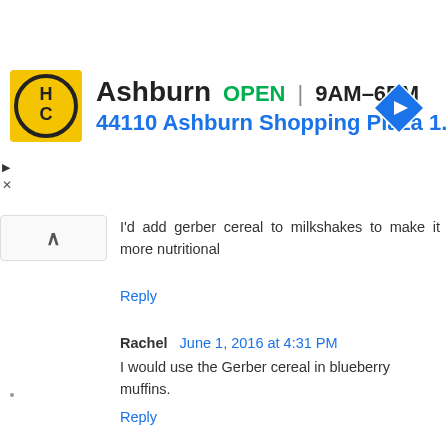[Figure (screenshot): Ad banner for HC business in Ashburn showing logo, OPEN status, hours 9AM-6PM, address 44110 Ashburn Shopping Plaza 1., and navigation icon]
I'd add gerber cereal to milkshakes to make it more nutritional
Reply
Rachel June 1, 2016 at 4:31 PM
I would use the Gerber cereal in blueberry muffins.
Reply
buzzd June 1, 2016 at 6:38 PM
I would use it in banana nut muffins. My fav
Reply